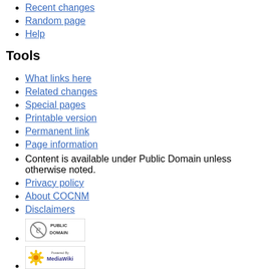Recent changes
Random page
Help
Tools
What links here
Related changes
Special pages
Printable version
Permanent link
Page information
Content is available under Public Domain unless otherwise noted.
Privacy policy
About COCNM
Disclaimers
[Figure (logo): Public Domain badge]
[Figure (logo): Powered by MediaWiki badge]